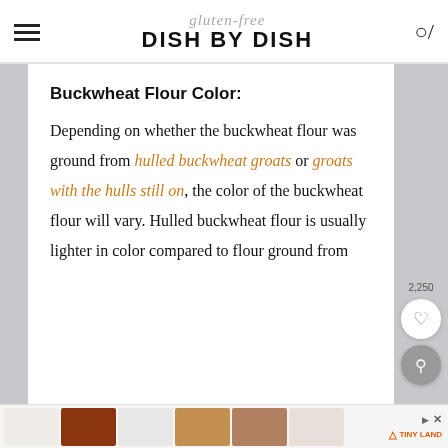gluten-free DISH BY DISH
Buckwheat Flour Color:
Depending on whether the buckwheat flour was ground from hulled buckwheat groats or groats with the hulls still on, the color of the buckwheat flour will vary. Hulled buckwheat flour is usually lighter in color compared to flour ground from
[Figure (screenshot): Advertisement bar with thumbnail images of various products]